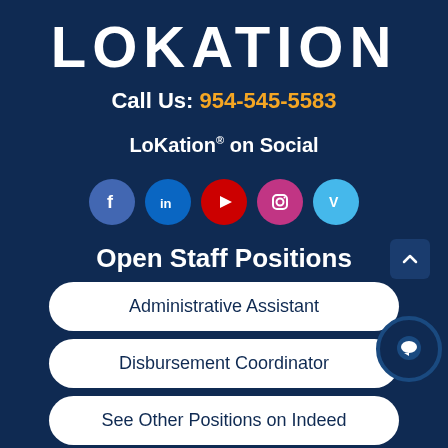LOKATION
Call Us: 954-545-5583
LoKation® on Social
[Figure (infographic): Row of 5 social media icons: Facebook, LinkedIn, YouTube, Instagram, Vimeo]
Open Staff Positions
Administrative Assistant
Disbursement Coordinator
See Other Positions on Indeed